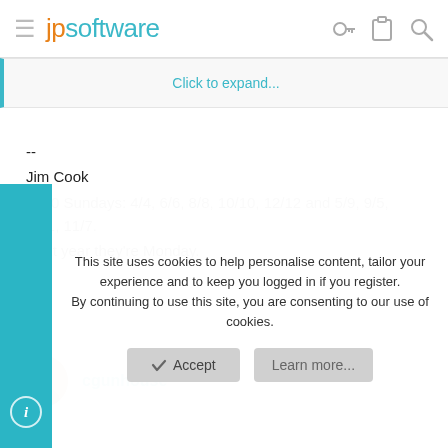jpsoftware
Click to expand...
--
Jim Cook
2010 Sundays: 4/4, 6/6, 8/8, 10/10, 12/12 and 5/9, 9/5, 7/11, 11/7.
Next year they're Monday.
cgunhouse
This site uses cookies to help personalise content, tailor your experience and to keep you logged in if you register.
By continuing to use this site, you are consenting to our use of cookies.